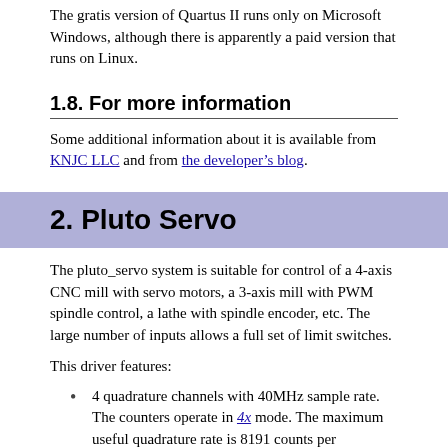The gratis version of Quartus II runs only on Microsoft Windows, although there is apparently a paid version that runs on Linux.
1.8. For more information
Some additional information about it is available from KNJC LLC and from the developer’s blog.
2. Pluto Servo
The pluto_servo system is suitable for control of a 4-axis CNC mill with servo motors, a 3-axis mill with PWM spindle control, a lathe with spindle encoder, etc. The large number of inputs allows a full set of limit switches.
This driver features:
4 quadrature channels with 40MHz sample rate. The counters operate in 4x mode. The maximum useful quadrature rate is 8191 counts per LinuxCNC servo cycle, or about 8MHz for LinuxCNC’s default 1ms servo rate.
4 PWM channels, up/down or pwm+dir style, 4095 duty